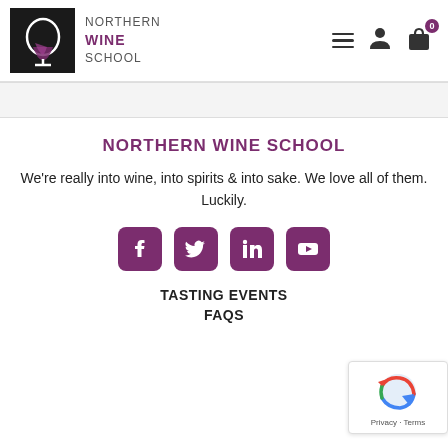[Figure (logo): Northern Wine School logo: black square with wine glass icon, text 'NORTHERN WINE SCHOOL' next to it]
[Figure (screenshot): Navigation icons: hamburger menu, person icon, shopping bag icon with 0 badge]
NORTHERN WINE SCHOOL
We're really into wine, into spirits & into sake. We love all of them. Luckily.
[Figure (infographic): Social media buttons: Facebook, Twitter, LinkedIn, YouTube - all in purple rounded squares]
TASTING EVENTS
FAQS